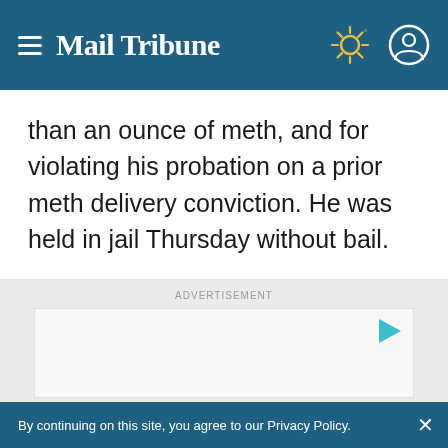Mail Tribune
than an ounce of meth, and for violating his probation on a prior meth delivery conviction. He was held in jail Thursday without bail.
[Figure (other): Advertisement placeholder box with a play/stream icon in the top right corner]
By continuing on this site, you agree to our Privacy Policy.